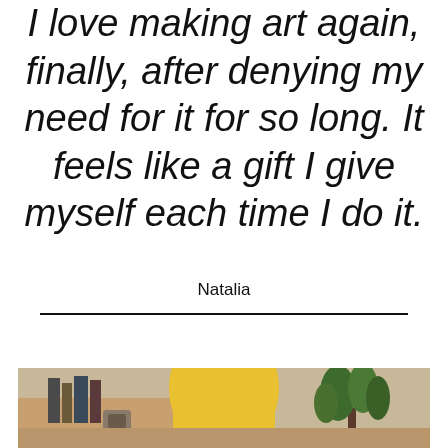I love making art again, finally, after denying my need for it for so long. It feels like a gift I give myself each time I do it.
Natalia
[Figure (photo): A photograph showing a yellow vase or lamp on a wooden shelf with books and a green plant in the background.]